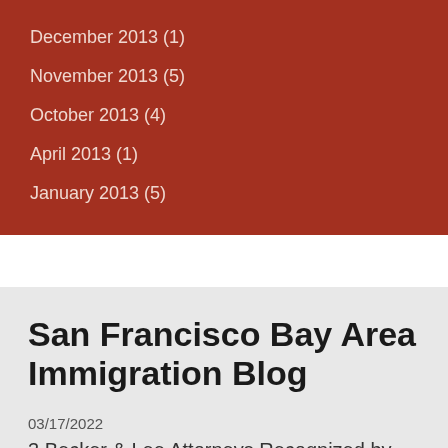December 2013 (1)
November 2013 (5)
October 2013 (4)
April 2013 (1)
January 2013 (5)
San Francisco Bay Area Immigration Blog
03/17/2022
3 Becker & Lee Attorneys Recognized by Super Lawyer Magazine as Top Immigration Lawyers